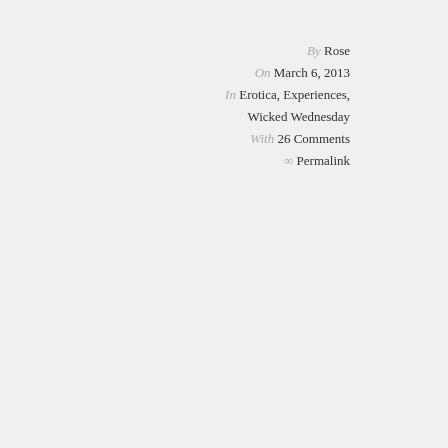By Rose
On March 6, 2013
In Erotica, Experiences,
Wicked Wednesday
With 26 Comments
∞ Permalink
The three of us, ne...
Him kissing her,
Then me kissing her. Feeli...
Hands wandering
Feeling a hand on my body
The hand cupping
Him taking off her top while I un...
All of us getting rid of mor...
Pushing him on the bed, ou...

His lips sucking n...
Getting ha...
Getting w...
Our bodies on t...
Biting and kissin...
She going dow...
Sucking his ha...
Hand between
Feeling my w...
Knowing this will only...
Of a night with a...
And making b...